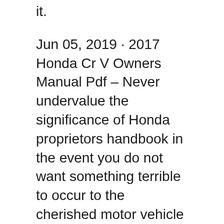it.
Jun 05, 2019 · 2017 Honda Cr V Owners Manual Pdf – Never undervalue the significance of Honda proprietors handbook in the event you do not want something terrible to occur to the cherished motor vehicle . The 2017 Honda Cr V Owners Manual Pdf can offer insight into the care and attention and maintenance, for example when to substitute the oil or when to perform an engine examine . As a result, 2017 Honda Cr-V Ex-L Owners Manual operates as standard for protection and protected working managing. Moreover, manual may be the last resort should you be stuck in anomaly scenario.